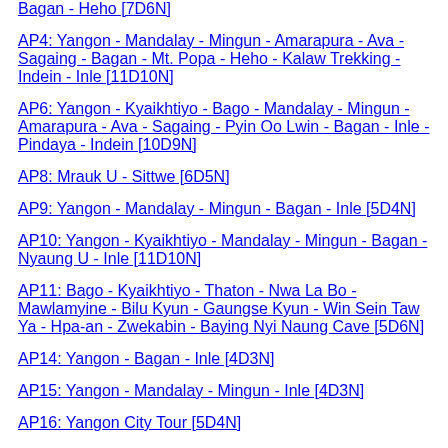Bagan - Heho [7D6N]
AP4: Yangon - Mandalay - Mingun - Amarapura - Ava - Sagaing - Bagan - Mt. Popa - Heho - Kalaw Trekking - Indein - Inle [11D10N]
AP6: Yangon - Kyaikhtiyo - Bago - Mandalay - Mingun - Amarapura - Ava - Sagaing - Pyin Oo Lwin - Bagan - Inle - Pindaya - Indein [10D9N]
AP8: Mrauk U - Sittwe [6D5N]
AP9: Yangon - Mandalay - Mingun - Bagan - Inle [5D4N]
AP10: Yangon - Kyaikhtiyo - Mandalay - Mingun - Bagan - Nyaung U - Inle [11D10N]
AP11: Bago - Kyaikhtiyo - Thaton - Nwa La Bo - Mawlamyine - Bilu Kyun - Gaungse Kyun - Win Sein Taw Ya - Hpa-an - Zwekabin - Baying Nyi Naung Cave [5D6N]
AP14: Yangon - Bagan - Inle [4D3N]
AP15: Yangon - Mandalay - Mingun - Inle [4D3N]
AP16: Yangon City Tour [5D4N]